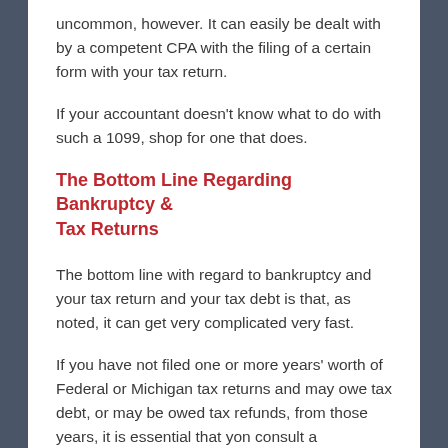uncommon, however. It can easily be dealt with by a competent CPA with the filing of a certain form with your tax return.
If your accountant doesn't know what to do with such a 1099, shop for one that does.
The Bottom Line Regarding Bankruptcy & Tax Returns
The bottom line with regard to bankruptcy and your tax return and your tax debt is that, as noted, it can get very complicated very fast.
If you have not filed one or more years' worth of Federal or Michigan tax returns and may owe tax debt, or may be owed tax refunds, from those years, it is essential that yon consult a bankruptcy lawyer experienced with tax issues.